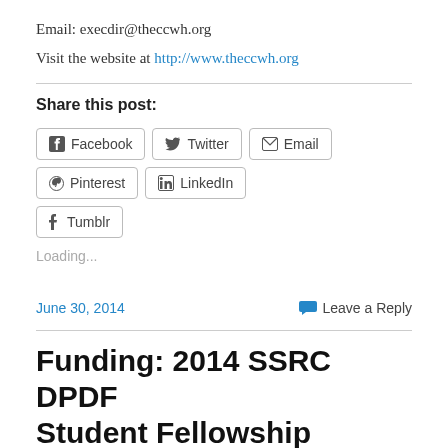Email: execdir@theccwh.org
Visit the website at http://www.theccwh.org
Share this post:
[Figure (other): Social share buttons: Facebook, Twitter, Email, Pinterest, LinkedIn, Tumblr]
Loading...
June 30, 2014
Leave a Reply
Funding: 2014 SSRC DPDF Student Fellowship